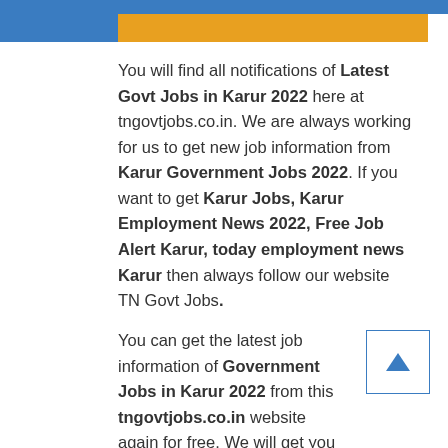[Figure (other): Blue and orange horizontal header bars at top of page]
You will find all notifications of Latest Govt Jobs in Karur 2022 here at tngovtjobs.co.in. We are always working for us to get new job information from Karur Government Jobs 2022. If you want to get Karur Jobs, Karur Employment News 2022, Free Job Alert Karur, today employment news Karur then always follow our website TN Govt Jobs.
You can get the latest job information of Government Jobs in Karur 2022 from this tngovtjobs.co.in website again for free. We will get you the information of TN Govt